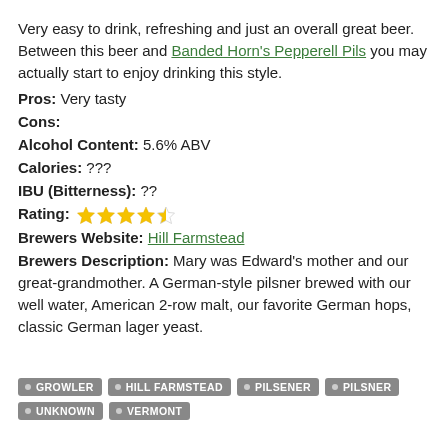Very easy to drink, refreshing and just an overall great beer. Between this beer and Banded Horn's Pepperell Pils you may actually start to enjoy drinking this style.
Pros: Very tasty
Cons:
Alcohol Content: 5.6% ABV
Calories: ???
IBU (Bitterness): ??
Rating: 4.5 stars
Brewers Website: Hill Farmstead
Brewers Description: Mary was Edward's mother and our great-grandmother. A German-style pilsner brewed with our well water, American 2-row malt, our favorite German hops, classic German lager yeast.
GROWLER
HILL FARMSTEAD
PILSENER
PILSNER
UNKNOWN
VERMONT